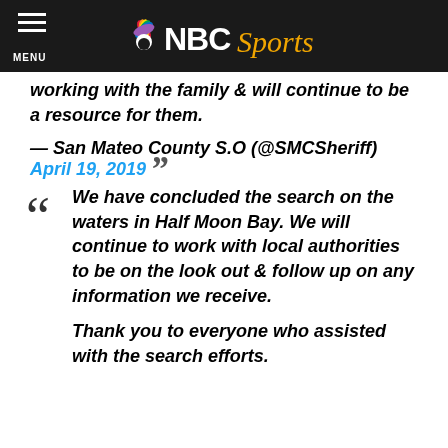NBC Sports
working with the family & will continue to be a resource for them.
— San Mateo County S.O (@SMCSheriff) April 19, 2019
We have concluded the search on the waters in Half Moon Bay. We will continue to work with local authorities to be on the look out & follow up on any information we receive.

Thank you to everyone who assisted with the search efforts.